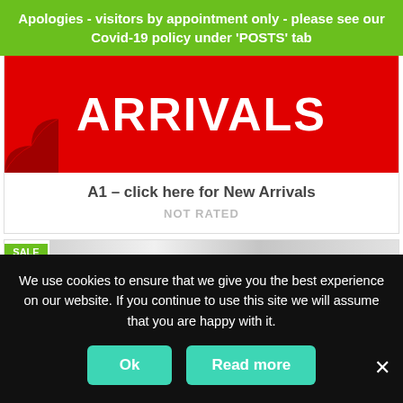Apologies - visitors by appointment only - please see our Covid-19 policy under 'POSTS' tab
[Figure (other): Red banner image with white bold text reading ARRIVALS with a page-curl effect at bottom-left corner]
A1 – click here for New Arrivals
NOT RATED
[Figure (other): Partial preview of second card with green SALE badge and a grey textured background image]
We use cookies to ensure that we give you the best experience on our website. If you continue to use this site we will assume that you are happy with it.